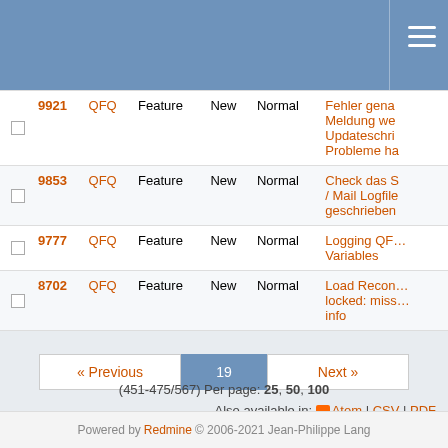|  | # | Project | Tracker | Status | Priority | Subject |
| --- | --- | --- | --- | --- | --- | --- |
|  | 9921 | QFQ | Feature | New | Normal | Fehler gena... Meldung we... Updateschri... Probleme ha... |
|  | 9853 | QFQ | Feature | New | Normal | Check das S... / Mail Logfile... geschrieben... |
|  | 9777 | QFQ | Feature | New | Normal | Logging QF... Variables |
|  | 8702 | QFQ | Feature | New | Normal | Load Recon... locked: miss... info |
(451-475/567) Per page: 25, 50, 100
Also available in: Atom | CSV | PDF
Powered by Redmine © 2006-2021 Jean-Philippe Lang